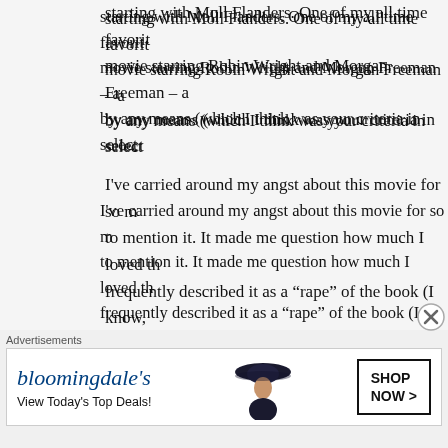starting with Moll Flanders. One of my all time favorite movie starring Robin Wright and Morgan Freeman – a by any means (which I think was your criteria in select
I've carried around my angst about this movie for so m to mention it. It made me question how much I loved th frequently described it as a “rape” of the book (I know, offensive and horrible.
I was also not fond of the Cider House Rules movie (lo my all-time favorite books), but I do like Tobey Magui with people about the film adaptation of Midnight in th also think was atrocious, but probably did a better job c than any of these others.
(faded/partial text at bottom)
[Figure (screenshot): Bloomingdale's advertisement banner with logo, 'View Today's Top Deals!' text, woman in wide-brim hat, and 'SHOP NOW >' button.]